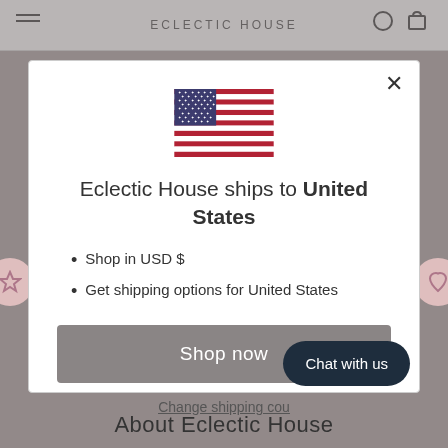ECLECTIC HOUSE
[Figure (screenshot): Modal dialog on an e-commerce website. Shows US flag, shipping destination message, bullet points about USD and shipping options, a Shop now button, and a Change shipping country link.]
Eclectic House ships to United States
Shop in USD $
Get shipping options for United States
Shop now
Change shipping cou...
Chat with us
About Eclectic House